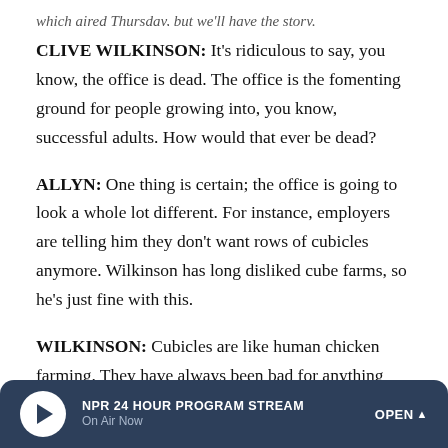[partial/cropped text at top]
CLIVE WILKINSON: It's ridiculous to say, you know, the office is dead. The office is the fomenting ground for people growing into, you know, successful adults. How would that ever be dead?
ALLYN: One thing is certain; the office is going to look a whole lot different. For instance, employers are telling him they don't want rows of cubicles anymore. Wilkinson has long disliked cube farms, so he's just fine with this.
WILKINSON: Cubicles are like human chicken farming. They have always been bad for anything other than kind of factory farming kind of approach to the office. Oh, put [continues below fold]
NPR 24 HOUR PROGRAM STREAM | On Air Now | OPEN